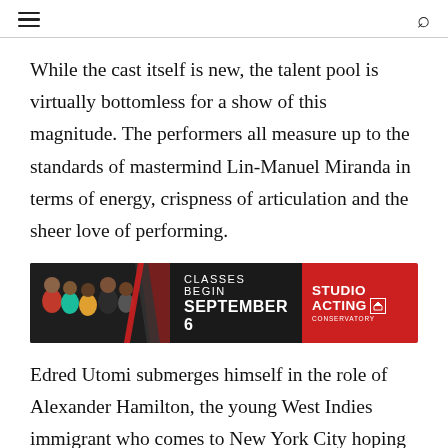While the cast itself is new, the talent pool is virtually bottomless for a show of this magnitude. The performers all measure up to the standards of mastermind Lin-Manuel Miranda in terms of energy, crispness of articulation and the sheer love of performing.
[Figure (illustration): Advertisement banner for Studio Acting Conservatory. Shows a group of diverse young performers on the left against a dark background, a black center section reading 'CLASSES BEGIN SEPTEMBER 6', and a red right section with 'STUDIO ACTING CONSERVATORY' logo with a house icon.]
Edred Utomi submerges himself in the role of Alexander Hamilton, the young West Indies immigrant who comes to New York City hoping to become “a new